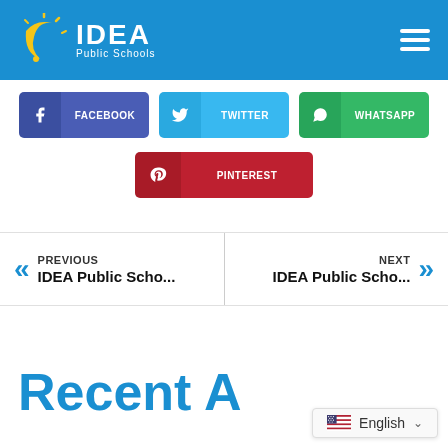[Figure (logo): IDEA Public Schools logo with sun/crescent graphic on blue header bar]
FACEBOOK
TWITTER
WHATSAPP
PINTEREST
PREVIOUS
IDEA Public Scho...
NEXT
IDEA Public Scho...
Recent A...
English